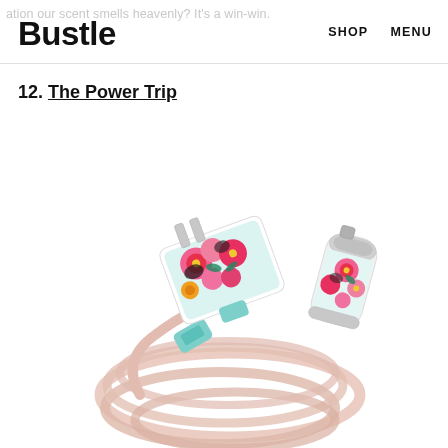Bustle | SHOP  MENU
12. The Power Trip
[Figure (photo): A floral-patterned phone charger set consisting of a wall plug adapter and a car charger adapter, both decorated with a white background and colorful pink, red, yellow and teal floral print, connected to a coiled light pink/rose braided Lightning cable with a teal USB connector.]